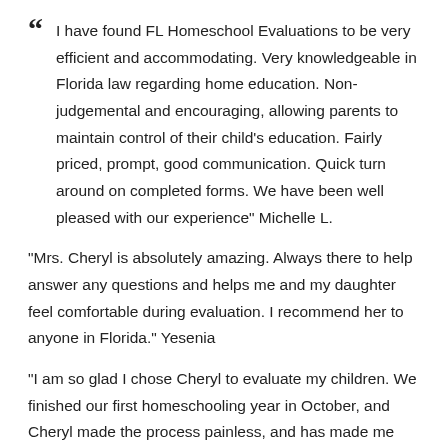“ I have found FL Homeschool Evaluations to be very efficient and accommodating. Very knowledgeable in Florida law regarding home education. Non-judgemental and encouraging, allowing parents to maintain control of their child's education. Fairly priced, prompt, good communication. Quick turn around on completed forms. We have been well pleased with our experience" Michelle L.
"Mrs. Cheryl is absolutely amazing. Always there to help answer any questions and helps me and my daughter feel comfortable during evaluation. I recommend her to anyone in Florida." Yesenia
"I am so glad I chose Cheryl to evaluate my children. We finished our first homeschooling year in October, and Cheryl made the process painless, and has made me even more excited to homeschool my kids this year. I was so nervous leading up to the evaluation. But Cheryl is great, and is very informative and to the point. I am so thankful I found her. And will definitely be using her again. Thanks again Mrs. Cheryl!!" Mary